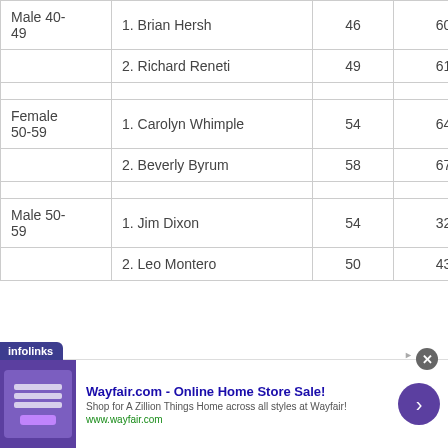| Male 40-49 | 1. Brian Hersh | 46 | 60:09:00 |
|  | 2. Richard Reneti | 49 | 61:27:00 |
|  |  |  |  |
| Female 50-59 | 1. Carolyn Whimple | 54 | 64:34:00 |
|  | 2. Beverly Byrum | 58 | 67:22:00 |
|  |  |  |  |
| Male 50-59 | 1. Jim Dixon | 54 | 32:15:00 |
|  | 2. Leo Montero | 50 | 43:52:00 |
[Figure (infographic): Wayfair.com advertisement banner with Infolinks branding. Shows 'Wayfair.com - Online Home Store Sale!' with text 'Shop for A Zillion Things Home across all styles at Wayfair!' and URL www.wayfair.com. Includes a purple bedroom/furniture image thumbnail and a purple arrow button.]